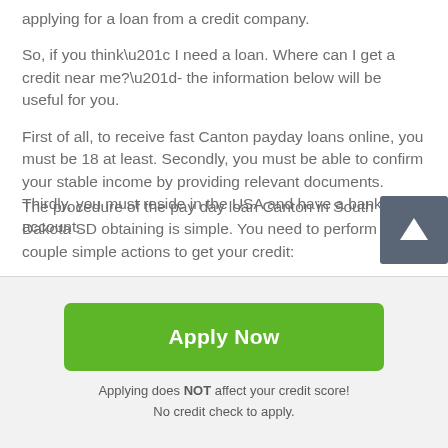applying for a loan from a credit company.
So, if you think” I need a loan. Where can I get a credit near me?”- the information below will be useful for you.
First of all, to receive fast Canton payday loans online, you must be 18 at least. Secondly, you must be able to confirm your stable income by providing relevant documents. Thirdly, you must reside in the USA and have a bank account.
The procedure of the pay day loan Canton in South Dakota SD obtaining is simple. You need to perform a couple simple actions to get your credit:
[Figure (other): Scroll-to-top button with white upward arrow on dark grey background]
Apply Now
Applying does NOT affect your credit score!
No credit check to apply.